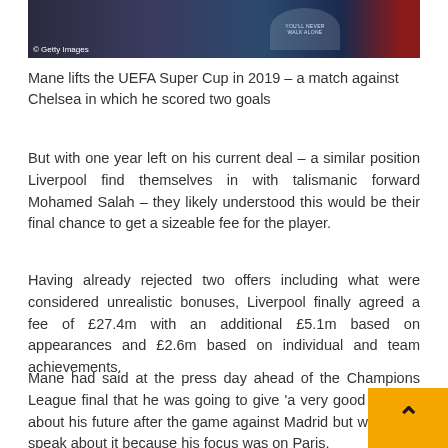[Figure (photo): Photo strip showing Mane lifting the UEFA Super Cup in 2019, dark background with Liverpool/UEFA branding. Getty Images watermark visible.]
Mane lifts the UEFA Super Cup in 2019 – a match against Chelsea in which he scored two goals
But with one year left on his current deal – a similar position Liverpool find themselves in with talismanic forward Mohamed Salah – they likely understood this would be their final chance to get a sizeable fee for the player.
Having already rejected two offers including what were considered unrealistic bonuses, Liverpool finally agreed a fee of £27.4m with an additional £5.1m based on appearances and £2.6m based on individual and team achievements.
Mane had said at the press day ahead of the Champions League final that he was going to give 'a very good answer' about his future after the game against Madrid but would not speak about it because his focus was on Paris.